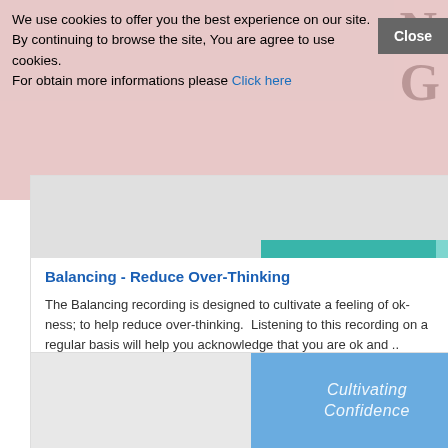We use cookies to offer you the best experience on our site. By continuing to browse the site, You are agree to use cookies.
For obtain more informations please Click here
[Figure (screenshot): Pink/rose background image area at top of page with large semi-transparent letters N and G visible, part of a website product listing page]
Balancing - Reduce Over-Thinking
The Balancing recording is designed to cultivate a feeling of ok-ness; to help reduce over-thinking.  Listening to this recording on a regular basis will help you acknowledge that you are ok and ..
£7.99
Ex Tax:£7.99
[Figure (screenshot): Action bar with three icon buttons: shopping cart, heart/wishlist, and compare arrows icons in dark blue on light grey background]
[Figure (screenshot): Second product card showing blue centered panel with italic text 'Cultivating Confidence' on grey background]